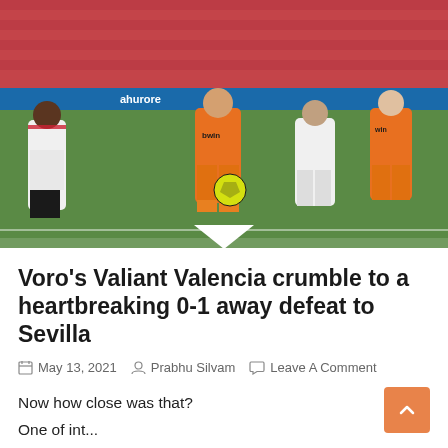[Figure (photo): Football match action photo: Valencia player in orange bwin kit dribbling past a Sevilla player in white kit. Two other players visible in background. Green pitch with yellow ball. Red stadium seats visible in background.]
Voro's Valiant Valencia crumble to a heartbreaking 0-1 away defeat to Sevilla
May 13, 2021   Prabhu Silvam   Leave A Comment
Now how close was that?
One of int...